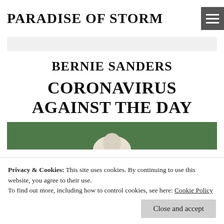PARADISE OF STORM
BERNIE SANDERS
CORONAVIRUS AGAINST THE DAY
[Figure (photo): Partial view of an old painting or illustration with green background, partially obscured by cookie banner]
Privacy & Cookies: This site uses cookies. By continuing to use this website, you agree to their use.
To find out more, including how to control cookies, see here: Cookie Policy
Close and accept